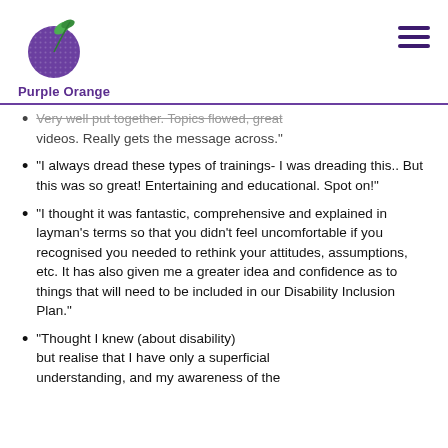[Figure (logo): Purple Orange logo: purple circle with green leaf on top, text 'Purple Orange' below in purple]
"Very well put together. Topics flowed, great videos. Really gets the message across."
"I always dread these types of trainings- I was dreading this.. But this was so great! Entertaining and educational. Spot on!"
"I thought it was fantastic, comprehensive and explained in layman's terms so that you didn't feel uncomfortable if you recognised you needed to rethink your attitudes, assumptions, etc. It has also given me a greater idea and confidence as to things that will need to be included in our Disability Inclusion Plan."
"Thought I knew (about disability) but realise that I have only a superficial understanding, and my awareness of the